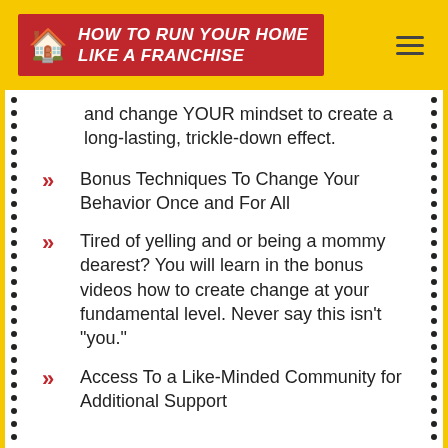HOW TO RUN YOUR HOME LIKE A FRANCHISE
and change YOUR mindset to create a long-lasting, trickle-down effect.
Bonus Techniques To Change Your Behavior Once and For All
Tired of yelling and or being a mommy dearest? You will learn in the bonus videos how to create change at your fundamental level. Never say this isn't "you."
Access To a Like-Minded Community for Additional Support